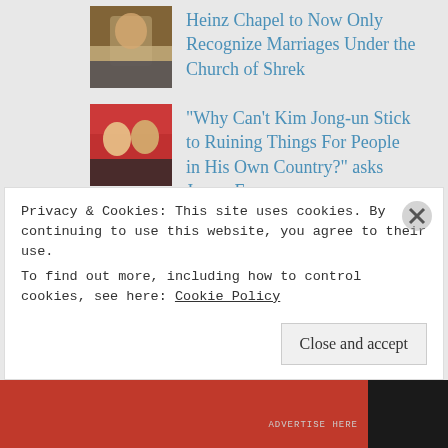[Figure (photo): Small thumbnail image, person in religious/ceremonial setting]
Heinz Chapel to Now Only Recognize Marriages Under the Church of Shrek
[Figure (photo): Small thumbnail image of two men, likely Seth Rogen and James Franco]
“Why Can’t Kim Jong-un Stick to Ruining Things For People in His Own Country?” asks James Franco
LIKE US ON FACEBOOK
FOLLOW US ON TWITTER
Privacy & Cookies: This site uses cookies. By continuing to use this website, you agree to their use.
To find out more, including how to control cookies, see here: Cookie Policy